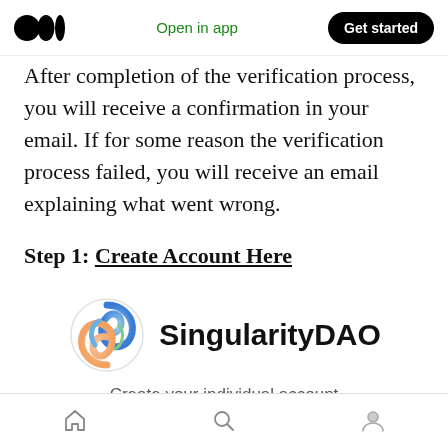Open in app | Get started
After completion of the verification process, you will receive a confirmation in your email. If for some reason the verification process failed, you will receive an email explaining what went wrong.
Step 1: Create Account Here
[Figure (logo): SingularityDAO logo with colorful swirl icon and text 'SingularityDAO'. Below it reads 'Create your individual account'.]
Home | Search | Profile